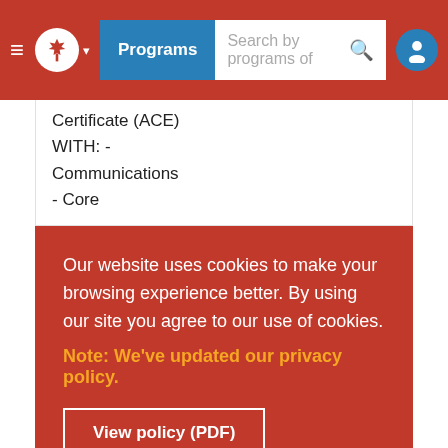Programs  Search by programs of
Certificate (ACE)
WITH: -
Communications
- Core
Our website uses cookies to make your browsing experience better. By using our site you agree to our use of cookies.
Note: We've updated our privacy policy.
View policy (PDF)
Close and don't show again
GPA) AND: -